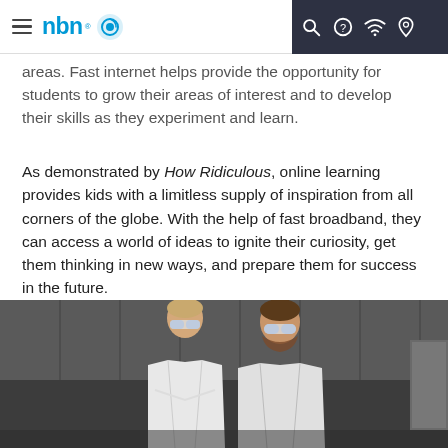nbn
areas. Fast internet helps provide the opportunity for students to grow their areas of interest and to develop their skills as they experiment and learn.
As demonstrated by How Ridiculous, online learning provides kids with a limitless supply of inspiration from all corners of the globe. With the help of fast broadband, they can access a world of ideas to ignite their curiosity, get them thinking in new ways, and prepare them for success in the future.
[Figure (photo): Two men in white lab coats and safety goggles looking down at something, photographed from above in a dark industrial setting.]